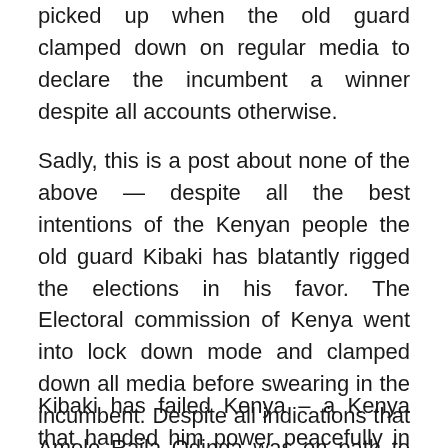picked up when the old guard clamped down on regular media to declare the incumbent a winner despite all accounts otherwise.
Sadly, this is a post about none of the above — despite all the best intentions of the Kenyan people the old guard Kibaki has blatantly rigged the elections in his favor. The Electoral commission of Kenya went into lock down mode and clamped down all media before swearing in the incumbent. Despite all indications that Amolo Raila Odinga was on path to win the elections by a narrow but undisputable margin – Kibaki and his cronies pulled ahead by 200,000 votes in the last 12hrs with some constituencies showing a voter turnout of 140%.
Kibaki has failed Kenya – a Kenya that handed him power peacefully in 02 deserves better. The common people of